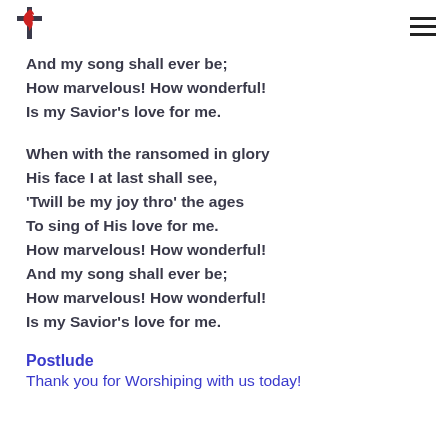UMC logo and navigation
And my song shall ever be;
How marvelous! How wonderful!
Is my Savior's love for me.
When with the ransomed in glory
His face I at last shall see,
‘Twill be my joy thro’ the ages
To sing of His love for me.
How marvelous! How wonderful!
And my song shall ever be;
How marvelous! How wonderful!
Is my Savior’s love for me.
Postlude
Thank you for Worshiping with us today!